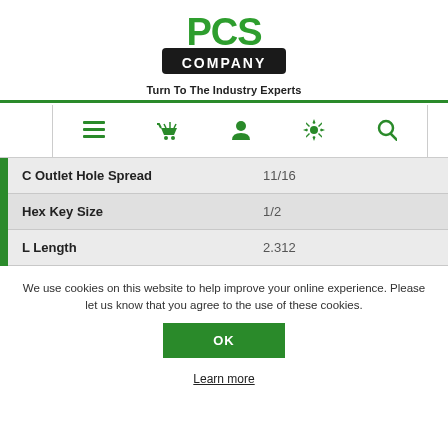[Figure (logo): PCS Company logo with green lettering and 'Turn To The Industry Experts' tagline]
[Figure (screenshot): Navigation bar with menu, basket, user, settings, and search icons in green]
| C Outlet Hole Spread | 11/16 |
| Hex Key Size | 1/2 |
| L Length | 2.312 |
We use cookies on this website to help improve your online experience. Please let us know that you agree to the use of these cookies.
OK
Learn more